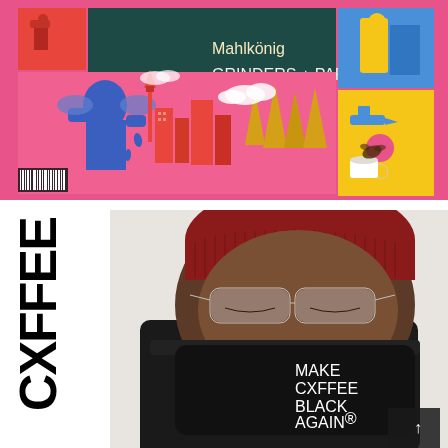[Figure (illustration): Colorful illustrated collage featuring Seattle skyline with Space Needle, pine trees, and various vignettes. Large text reads 'Mahlkönig GRINDERS + PARTS' on a teal/dark green background. Surrounding panels include orange, pink, yellow, and blue illustrated scenes with retro/vintage style artwork.]
CXFFEE
[Figure (photo): Photo of a person wearing a red knit beanie, round glasses, dark coat, and a black face mask that reads 'MAKE CXFFEE BLACK AGAIN' in white text. Dark navigation arrow button visible in bottom right corner.]